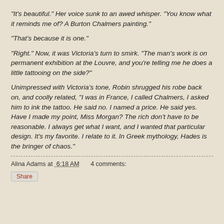"It's beautiful." Her voice sunk to an awed whisper. "You know what it reminds me of? A Burton Chalmers painting."
"That's because it is one."
"Right." Now, it was Victoria's turn to smirk. "The man's work is on permanent exhibition at the Louvre, and you're telling me he does a little tattooing on the side?"
Unimpressed with Victoria's tone, Robin shrugged his robe back on, and coolly related, "I was in France, I called Chalmers, I asked him to ink the tattoo. He said no. I named a price. He said yes. Have I made my point, Miss Morgan? The rich don't have to be reasonable. I always get what I want, and I wanted that particular design. It's my favorite. I relate to it. In Greek mythology, Hades is the bringer of chaos."
Alina Adams at 6:18 AM    4 comments:
Share